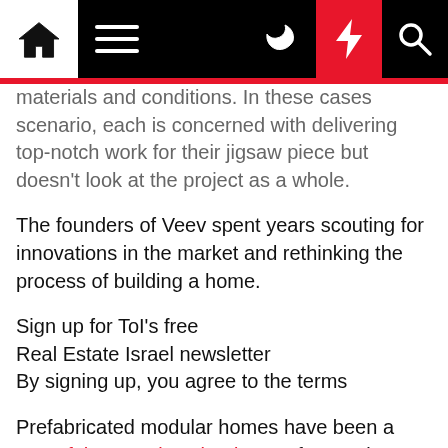[navigation bar with home, menu, moon, bolt, search icons]
materials and conditions. In these cases scenario, each is concerned with delivering top-notch work for their jigsaw piece but doesn't look at the project as a whole.
The founders of Veev spent years scouting for innovations in the market and rethinking the process of building a home.
Sign up for ToI's free
Real Estate Israel newsletter
By signing up, you agree to the terms
Prefabricated modular homes have been a part of the American landscape for nearly a century and worldwide. The pre-fab housing market is currently estimated to be worth some $153.7 billion by 2026, with the highest demand in the US and China, followed by Japan, Canada and Germany. The North